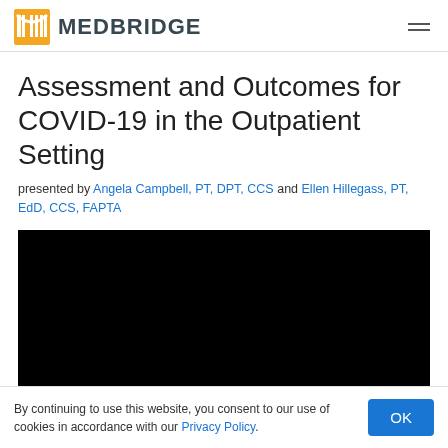MEDBRIDGE
Assessment and Outcomes for COVID-19 in the Outpatient Setting
presented by Angela Campbell, PT, DPT, CCS and Ellen Hillegass, PT, EdD, CCS, FAPTA
[Figure (screenshot): Black video player area]
By continuing to use this website, you consent to our use of cookies in accordance with our Privacy Policy.